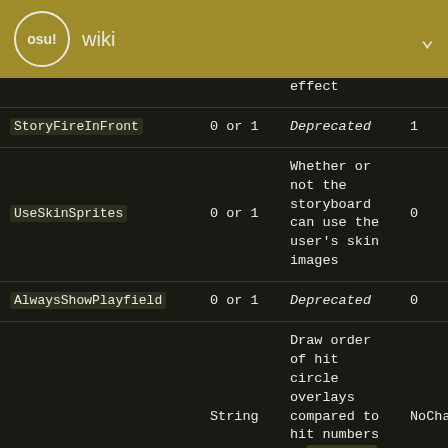osu! wiki
| Key | Value type | Description | Default |
| --- | --- | --- | --- |
|  |  | effect |  |
| StoryFireInFront | 0 or 1 | Deprecated | 1 |
| UseSkinSprites | 0 or 1 | Whether or not the storyboard can use the user's skin images | 0 |
| AlwaysShowPlayfield | 0 or 1 | Deprecated | 0 |
|  | String | Draw order of hit circle overlays compared to hit numbers ( NoChange = use skin setting, | NoChange |